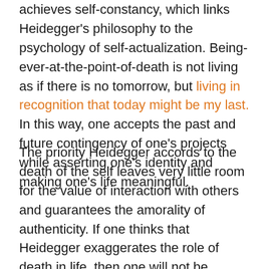achieves self-constancy, which links Heidegger's philosophy to the psychology of self-actualization. Being-ever-at-the-point-of-death is not living as if there is no tomorrow, but living in recognition that today might be my last. In this way, one accepts the past and future contingency of one's projects while asserting one's identity and making one's life meaningful.
The priority Heidegger accords to the death of the self leaves very little room for the value of interaction with others and guarantees the amorality of authenticity. If one thinks that Heidegger exaggerates the role of death in life, then one will not be convinced by his conception. If one regards the significance he accords to death as unlocking the potential for human flourishing, then one is faced with a problem: how to introduce an ethical element into authenticity without altering the concept beyond recognition. Simone de Beauvoir, who is best